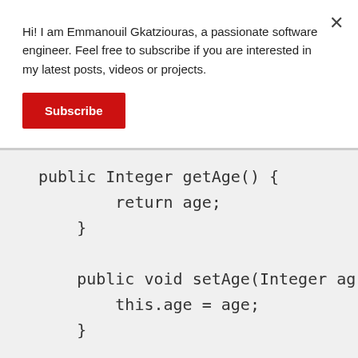Hi! I am Emmanouil Gkatziouras, a passionate software engineer. Feel free to subscribe if you are interested in my latest posts, videos or projects.
[Figure (other): Red Subscribe button]
[Figure (other): Close (X) button in top right corner]
public Integer getAge() {
        return age;
    }

    public void setAge(Integer ag
        this.age = age;
    }